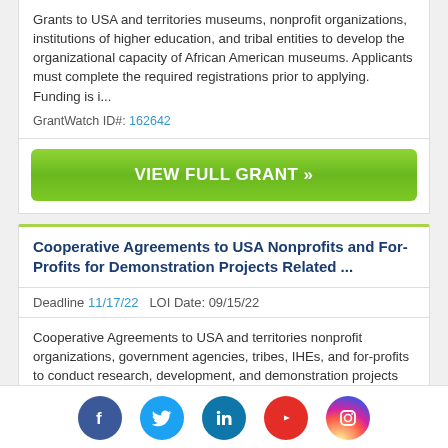Grants to USA and territories museums, nonprofit organizations, institutions of higher education, and tribal entities to develop the organizational capacity of African American museums. Applicants must complete the required registrations prior to applying. Funding is i...
GrantWatch ID#: 162642
VIEW FULL GRANT »
Cooperative Agreements to USA Nonprofits and For-Profits for Demonstration Projects Related ...
Deadline 11/17/22   LOI Date: 09/15/22
Cooperative Agreements to USA and territories nonprofit organizations, government agencies, tribes, IHEs, and for-profits to conduct research, development, and demonstration projects related to renewable energy. Applicants are advised...
[Figure (logo): Social media icons row: Facebook (blue circle), Twitter (light blue circle), LinkedIn (teal circle), YouTube (red circle), Instagram (gradient circle)]